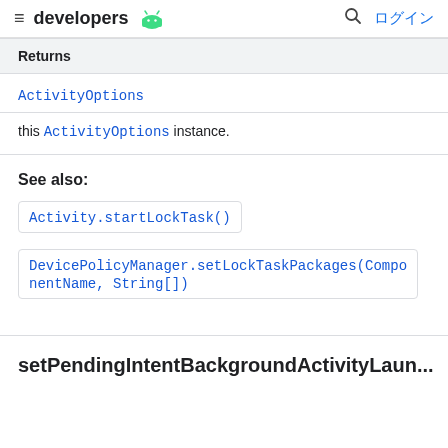≡ developers 🤖 🔍 ログイン
Returns
ActivityOptions
this ActivityOptions instance.
See also:
Activity.startLockTask()
DevicePolicyManager.setLockTaskPackages(ComponentName, String[])
setPendingIntentBackgroundActivityLaun...